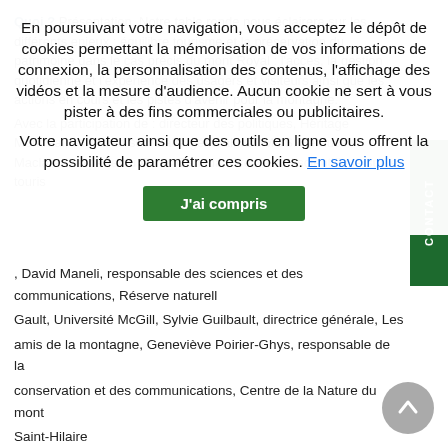Quoi ? Présentation. Notre table ronde nous éclairera sur les différents enjeux : équilibre tourisme et la préservation du patrimoine dans le cas précis du mont Royal : l'accès, la gestion quotidienne et l'expérience des usagers et visiteurs ainsi que les actions en cours et les pistes d'avenir pour la montagne.
Avec la participation de : directeur des politiques, Héritage Montréal, et Ancien secrétaire général, ICOMOS. Fernuss Maclaren, experte du Parcs Canada, directeur al scientifique sur le tourisme, David Maneli, responsable des sciences et des communications, Réserve naturell Gault, Université McGill, Sylvie Guilbault, directrice générale, Les amis de la montagne, Geneviève Poirier-Ghys, responsable de la conservation et des communications, Centre de la Nature du mont Saint-Hilaire
Quand ? mercredi 19 avril, 2017 de 17 h 30 à 19 h 30
Où ? Cercle Universitaire de McGill, Salle à manger principale, 2e étage (3450, rue McTavish, Montréal, Québec, Canada)
Contact officiel contact@heritagemontreal.org
Site web officiel http://www.heritagemontreal.org/activite/table-
En poursuivant votre navigation, vous acceptez le dépôt de cookies permettant la mémorisation de vos informations de connexion, la personnalisation des contenus, l'affichage des vidéos et la mesure d'audience. Aucun cookie ne sert à vous pister à des fins commerciales ou publicitaires. Votre navigateur ainsi que des outils en ligne vous offrent la possibilité de paramétrer ces cookies. En savoir plus
J'ai compris